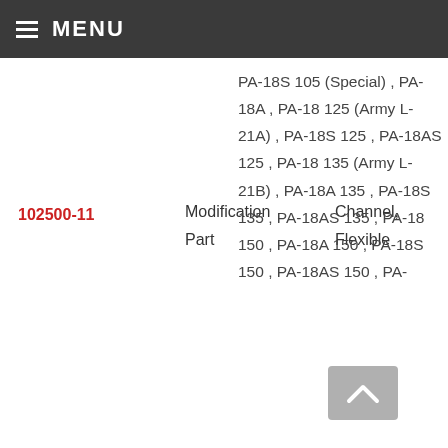MENU
| Part Number | Type | Description | Aircraft |
| --- | --- | --- | --- |
| 102500-11 | Modification Part | Channel, Flexible | PA-18S 105 (Special) , PA-18A , PA-18 125 (Army L-21A) , PA-18S 125 , PA-18AS 125 , PA-18 135 (Army L-21B) , PA-18A 135 , PA-18S 135 , PA-18AS 135 , PA-18 150 , PA-18A 150 , PA-18S 150 , PA-18AS 150 , PA- |